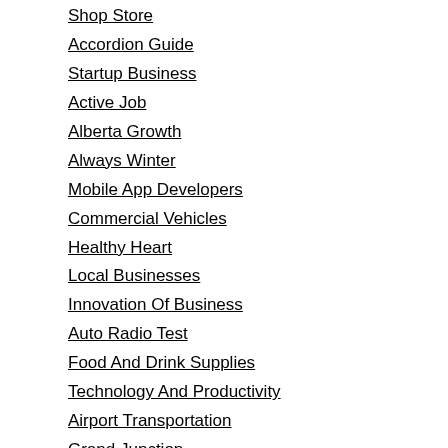Shop Store
Accordion Guide
Startup Business
Active Job
Alberta Growth
Always Winter
Mobile App Developers
Commercial Vehicles
Healthy Heart
Local Businesses
Innovation Of Business
Auto Radio Test
Food And Drink Supplies
Technology And Productivity
Airport Transportation
Grand Junction
Berlin Service
Mountain Bike Riding
Food Island